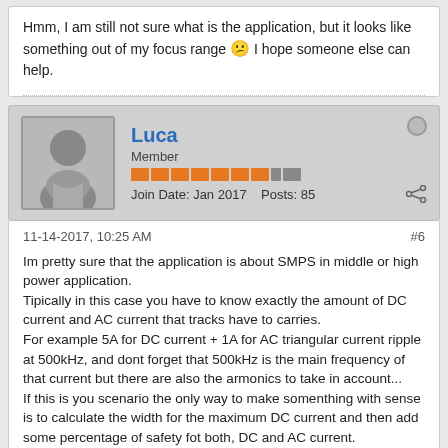Hmm, I am still not sure what is the application, but it looks like something out of my focus range 😕 I hope someone else can help.
Luca
Member
Join Date: Jan 2017   Posts: 85
11-14-2017, 10:25 AM
#6
Im pretty sure that the application is about SMPS in middle or high power application.
Tipically in this case you have to know exactly the amount of DC current and AC current that tracks have to carries.
For example 5A for DC current + 1A for AC triangular current ripple at 500kHz, and dont forget that 500kHz is the main frequency of that current but there are also the armonics to take in account...
If this is you scenario the only way to make somenthing with sense is to calculate the width for the maximum DC current and then add some percentage of safety fot both, DC and AC current.
Remember that is more important to keep a safe "back way" for the AC current then skin effect especially in high power SMPS that tipically have frequency around 50kHz to 200kHz, depends on topology and application.
Only if you have very hard design with a lot of amps at MHz the skin